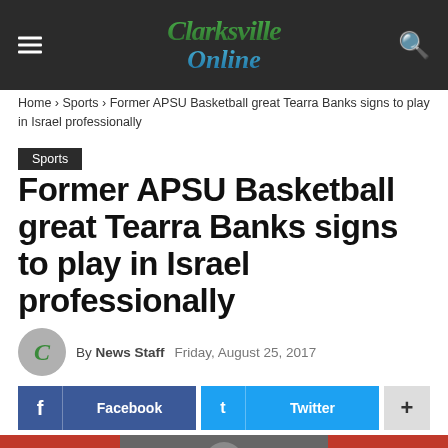Clarksville Online
Home › Sports › Former APSU Basketball great Tearra Banks signs to play in Israel professionally
Sports
Former APSU Basketball great Tearra Banks signs to play in Israel professionally
By News Staff   Friday, August 25, 2017
[Figure (other): Social share buttons: Facebook, Twitter, and a plus button for more options]
[Figure (photo): Partial photo of a person, with red background on sides and gray center]